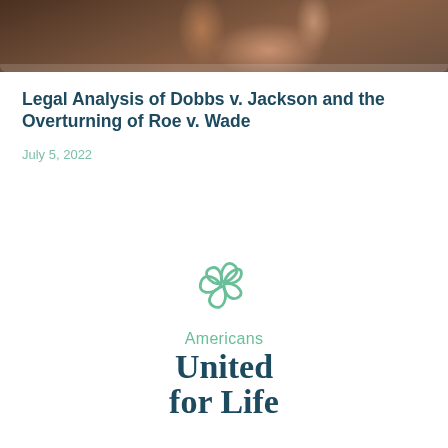[Figure (photo): Close-up photo of a hand with dark nail polish resting on a textured surface, shown as a cropped strip at the top of the page]
Legal Analysis of Dobbs v. Jackson and the Overturning of Roe v. Wade
July 5, 2022
[Figure (logo): Americans United for Life logo — a green stylized flower icon above the text 'Americans United for Life' in green and dark teal]